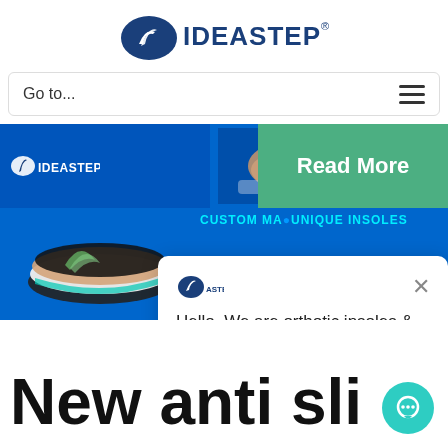[Figure (logo): IDEASTEP logo with blue oval swoosh icon and IDEASTEP text with registered trademark symbol]
Go to...
[Figure (screenshot): Website banner with blue background showing IDEASTEP logo on left, insole product image in center, green Read More button on right, and CUSTOM MADE UNIQUE INSOLES text]
Hello, We are orthotic insoles & orthopedic shoes , socks & EVA milling blocks supplier, May I know your interested products?
New anti sli